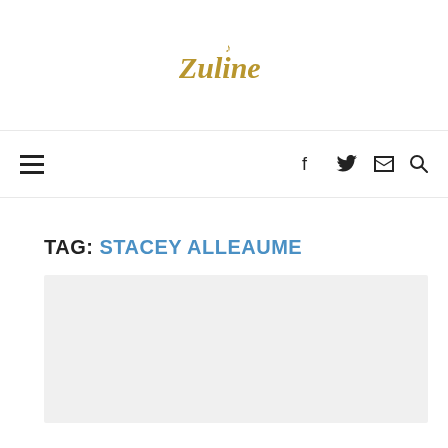Zulipe (logo)
TAG: STACEY ALLEAUME
[Figure (other): Gray content card placeholder area]